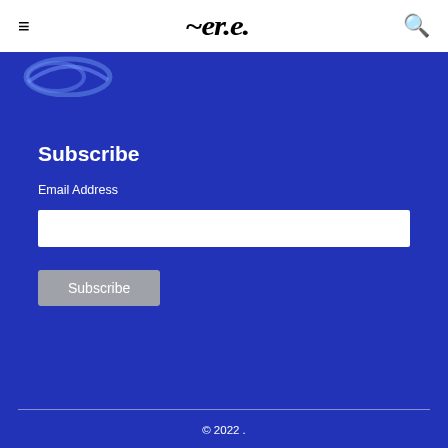≡  [logo]  🔍
[Figure (logo): Decorative logo / wordmark in the blue section top-left corner]
Subscribe
Email Address
Subscribe (button)
© 2022 .